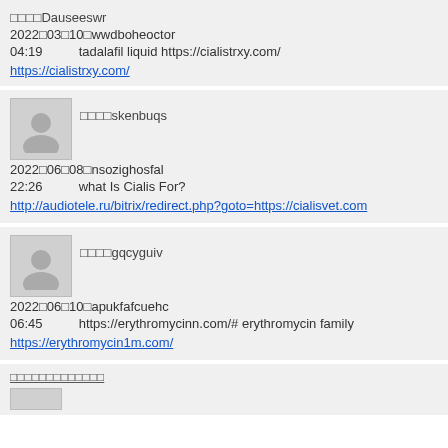□□□□Dauseeswr
2022□03□10□wwdboheoctor
04:19   tadalafil liquid https://cialistrxy.com/

https://cialistrxy.com/
□□□□skenbuqs
2022□06□08□nsozighosfal
22:26   what Is Cialis For?

http://audiotele.ru/bitrix/redirect.php?goto=https://cialisvet.com
□□□□gqcyguiv
2022□06□10□apukfafcuehc
06:45   https://erythromycinn.com/# erythromycin family

https://erythromycin1m.com/
□□□□□□□□□□□□□